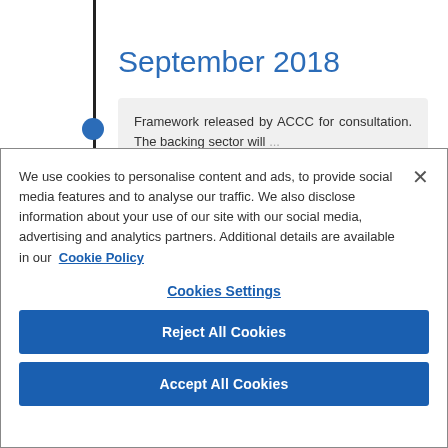September 2018
Framework released by ACCC for consultation. The backing sector will
We use cookies to personalise content and ads, to provide social media features and to analyse our traffic. We also disclose information about your use of our site with our social media, advertising and analytics partners. Additional details are available in our Cookie Policy
Cookies Settings
Reject All Cookies
Accept All Cookies